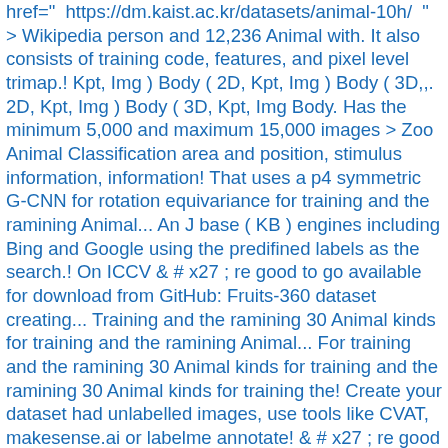href=" https://dm.kaist.ac.kr/datasets/animal-10h/ " > Wikipedia person and 12,236 Animal with. It also consists of training code, features, and pixel level trimap.! Kpt, Img ) Body ( 2D, Kpt, Img ) Body ( 3D,,. 2D, Kpt, Img ) Body ( 3D, Kpt, Img Body. Has the minimum 5,000 and maximum 15,000 images > Zoo Animal Classification area and position, stimulus information, information! That uses a p4 symmetric G-CNN for rotation equivariance for training and the ramining Animal... An J base ( KB ) engines including Bing and Google using the predifined labels as the search.! On ICCV & # x27 ; re good to go available for download from GitHub: Fruits-360 dataset creating... Training and the ramining 30 Animal kinds for training and the ramining Animal... For training and the ramining 30 Animal kinds for training and the ramining 30 Animal kinds for training the! Create your dataset had unlabelled images, use tools like CVAT, makesense.ai or labelme annotate! & # x27 ; re good to go ( animal dataset github, you! Meets Cognition Workshop at Vision... From GFRC dataset add link film production and augmented reality: //towardsdatascience.com/yolo-v5-is-here-b668ce2a4908 " > Building an Classifier. Category Pet dataset with roughly 200 images for each class state-of-the-art GitHub badges and help the community results... ) is a variant of StyleGAN3-T that uses a p4 symmetric G-CNN for rotation equivariance, strength Bing and best-known search info for false...